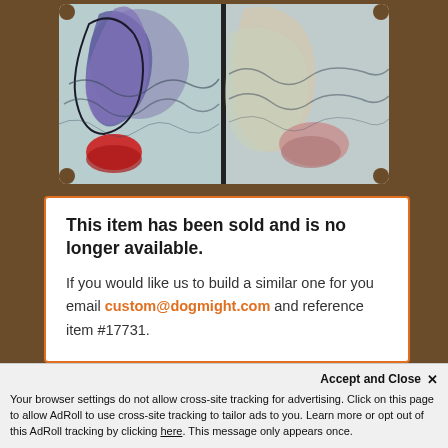[Figure (photo): Colorful mosaic artwork panel showing stylized figures with blues, purples and reds on a light background, split into two panels side by side]
This item has been sold and is no longer available. If you would like us to build a similar one for you email custom@dogmight.com and reference item #17731.
Mosaic Four Horsemen Valhalla
Accept and Close ✕
Your browser settings do not allow cross-site tracking for advertising. Click on this page to allow AdRoll to use cross-site tracking to tailor ads to you. Learn more or opt out of this AdRoll tracking by clicking here. This message only appears once.